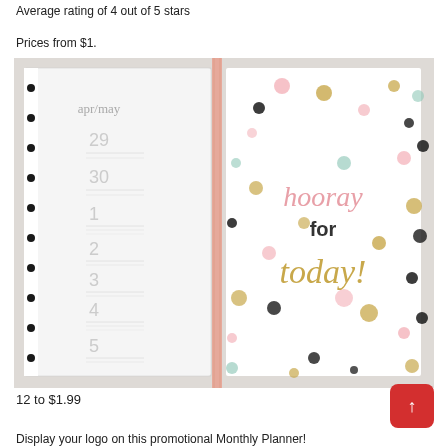Average rating of 4 out of 5 stars
Prices from $1.
[Figure (photo): Open promotional monthly planner showing a daily schedule page on the left (apr/may, dates 29-5) and a decorative cover page on the right with colorful polka dots and text 'hooray for today!' with a pink ribbon bookmark.]
12 to $1.99
Display your logo on this promotional Monthly Planner!